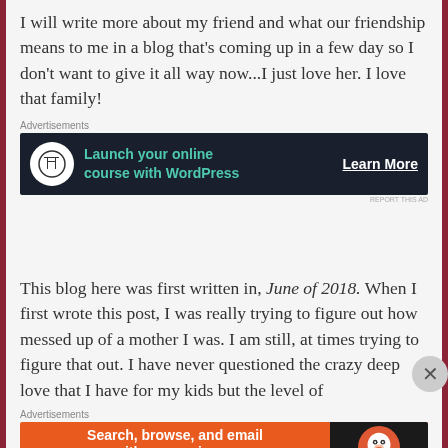I will write more about my friend and what our friendship means to me in a blog that's coming up in a few day so I don't want to give it all way now...I just love her. I love that family!
Advertisements
[Figure (other): Dark advertisement banner for WordPress online course with icon, text 'Launch your online course with WordPress' in teal, and 'Learn More' button]
This blog here was first written in, June of 2018. When I first wrote this post, I was really trying to figure out how messed up of a mother I was. I am still, at times trying to figure that out. I have never questioned the crazy deep love that I have for my kids but the level of
Advertisements
[Figure (other): Orange advertisement banner for DuckDuckGo app: 'Search, browse, and email with more privacy. All in One Free App' with DuckDuckGo logo on dark right panel]